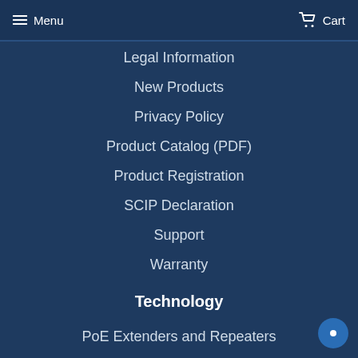Menu  Cart
Legal Information
New Products
Privacy Policy
Product Catalog (PDF)
Product Registration
SCIP Declaration
Support
Warranty
Technology
PoE Extenders and Repeaters
Power over Ethernet Technology Explained
What is a PoE Injector
What is a PoE Switch